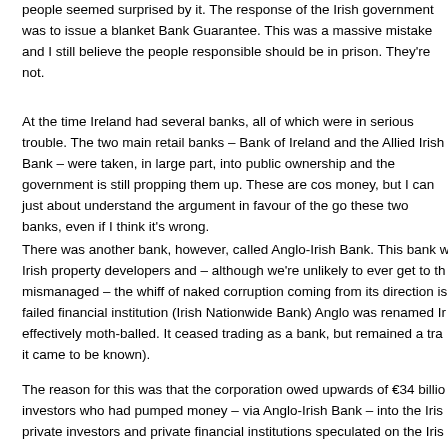people seemed surprised by it. The response of the Irish government was to issue a blanket Bank Guarantee. This was a massive mistake and I still believe the people responsible should be in prison. They're not.
At the time Ireland had several banks, all of which were in serious trouble. The two main retail banks – Bank of Ireland and the Allied Irish Bank – were taken, in large part, into public ownership and the government is still propping them up. These are cos money, but I can just about understand the argument in favour of the go these two banks, even if I think it's wrong.
There was another bank, however, called Anglo-Irish Bank. This bank w Irish property developers and – although we're unlikely to ever get to th mismanaged – the whiff of naked corruption coming from its direction is failed financial institution (Irish Nationwide Bank) Anglo was renamed Ir effectively moth-balled. It ceased trading as a bank, but remained a tra it came to be known).
The reason for this was that the corporation owed upwards of €34 billio investors who had pumped money – via Anglo-Irish Bank – into the Iris private investors and private financial institutions speculated on the Iris bubble inevitably burst (as anyone with an IQ higher than that of a brai